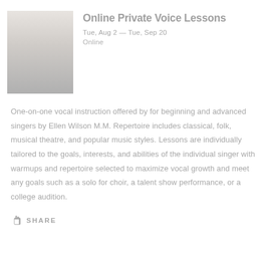[Figure (photo): Woman singing near a piano, wearing a light-colored outfit]
Online Private Voice Lessons
Tue, Aug 2 — Tue, Sep 20
Online
One-on-one vocal instruction offered by for beginning and advanced singers by Ellen Wilson M.M. Repertoire includes classical, folk, musical theatre, and popular music styles. Lessons are individually tailored to the goals, interests, and abilities of the individual singer with warmups and repertoire selected to maximize vocal growth and meet any goals such as a solo for choir, a talent show performance, or a college audition.
SHARE